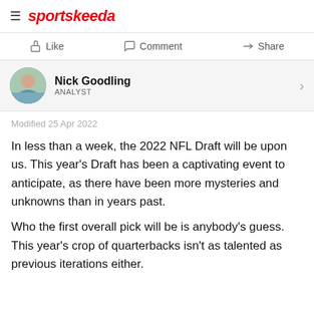sportskeeda
Like   Comment   Share
Nick Goodling
ANALYST
Modified 25 Apr 2022
In less than a week, the 2022 NFL Draft will be upon us. This year's Draft has been a captivating event to anticipate, as there have been more mysteries and unknowns than in years past.
Who the first overall pick will be is anybody's guess. This year's crop of quarterbacks isn't as talented as previous iterations either.